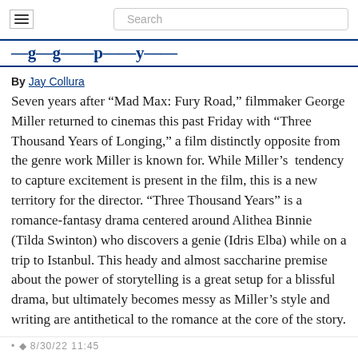Search
[partial title — cropped]
By Jay Collura
Seven years after “Mad Max: Fury Road,” filmmaker George Miller returned to cinemas this past Friday with “Three Thousand Years of Longing,” a film distinctly opposite from the genre work Miller is known for. While Miller’s  tendency to capture excitement is present in the film, this is a new territory for the director. “Three Thousand Years” is a romance-fantasy drama centered around Alithea Binnie (Tilda Swinton) who discovers a genie (Idris Elba) while on a trip to Istanbul. This heady and almost saccharine premise about the power of storytelling is a great setup for a blissful drama, but ultimately becomes messy as Miller’s style and writing are antithetical to the romance at the core of the story.
... [partial footer text]